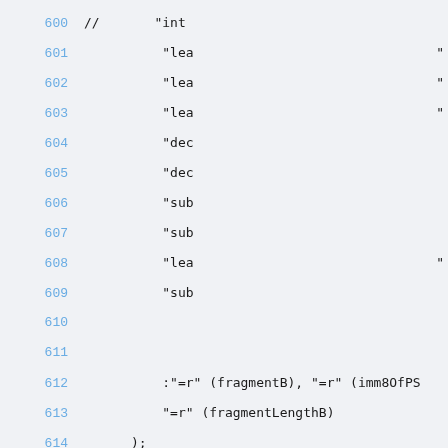600  //      "int                                          $3
601          "lea                                         " LOCAL_MANG
602          "lea                                         " LOCAL_MANG
603          "lea                                         " LOCAL_MANG
604          "dec                                                    %1
605          "dec                                                    %2
606          "sub                                                   %0,
607          "sub                                                   %0,
608          "lea                                         " LOCAL_MANG
609          "sub                                                   %0,
610
611
612          :"=r" (fragmentB), "=r" (imm8OfPS
613          "=r" (fragmentLengthB)
614      );